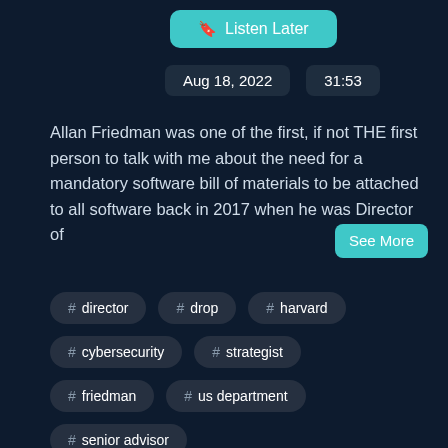[Figure (screenshot): Listen Later button with bookmark icon, teal/cyan background]
Aug 18, 2022   31:53
Allan Friedman was one of the first, if not THE first person to talk with me about the need for a mandatory software bill of materials to be attached to all software back in 2017 when he was Director of
See More
# director
# drop
# harvard
# cybersecurity
# strategist
# friedman
# us department
# senior advisor